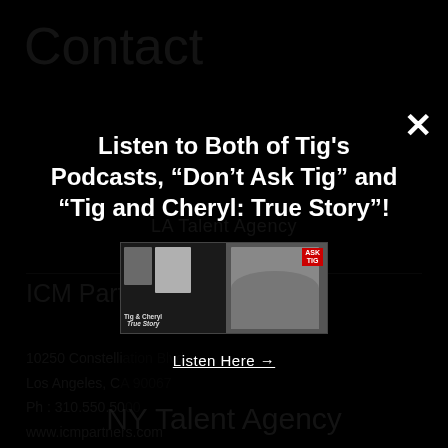Contact
LA Talent Agency
ICM Partners
10250 Constellation Blvd
Los Angeles, CA 90067
Ph: 310.550.5000
www.icmpartners.com
Talent Agents: Dan Rollins, Eddy Yablans
TV Literary Agents: Laura Gordon
NY Talent Agency
Listen to Both of Tig's Podcasts, “Don’t Ask Tig” and “Tig and Cheryl: True Story”!
[Figure (photo): Podcast artwork showing Tig and Cheryl: True Story and Don't Ask Tig podcast covers]
Listen Here →